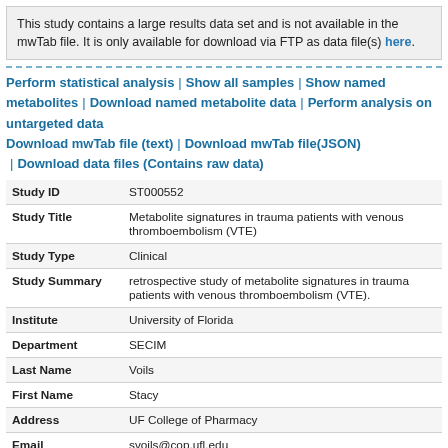This study contains a large results data set and is not available in the mwTab file. It is only available for download via FTP as data file(s) here.
Perform statistical analysis | Show all samples | Show named metabolites | Download named metabolite data | Perform analysis on untargeted data
Download mwTab file (text) | Download mwTab file(JSON) | Download data files (Contains raw data)
| Field | Value |
| --- | --- |
| Study ID | ST000552 |
| Study Title | Metabolite signatures in trauma patients with venous thromboembolism (VTE) |
| Study Type | Clinical |
| Study Summary | retrospective study of metabolite signatures in trauma patients with venous thromboembolism (VTE). |
| Institute | University of Florida |
| Department | SECIM |
| Last Name | Voils |
| First Name | Stacy |
| Address | UF College of Pharmacy |
| Email | svoils@cop.ufl.edu |